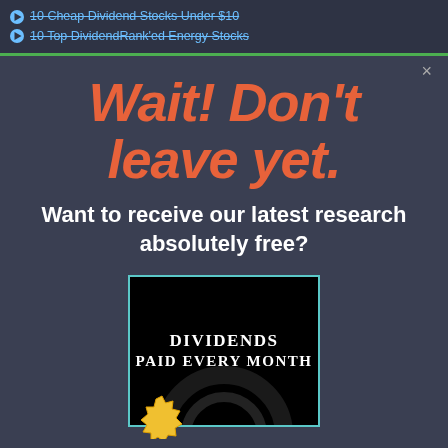10 Cheap Dividend Stocks Under $10
10 Top DividendRank'ed Energy Stocks
Wait! Don't leave yet.
Want to receive our latest research absolutely free?
[Figure (illustration): Book cover for 'Dividends Paid Every Month' with dark/black background, teal border, white serif text, gear imagery in background, and gold badge in corner]